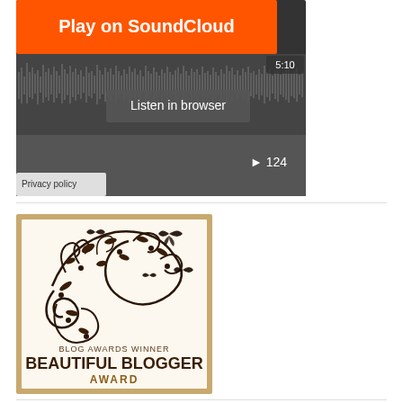[Figure (screenshot): SoundCloud audio player widget with orange 'Play on SoundCloud' button, dark waveform, 'Listen in browser' button, 5:10 duration, play button with 124 plays count, and 'Privacy policy' link at bottom left]
[Figure (illustration): Beautiful Blogger Award badge/logo with decorative floral and butterfly design in brown/black on cream background, text reading 'BLOG AWARDS WINNER' and 'BEAUTIFUL BLOGGER AWARD' in dark brown bold text, framed with a gold/tan border]